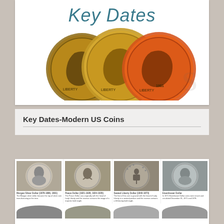Key Dates
[Figure (photo): Three Lincoln cent coins overlapping, showing the obverse (portrait) side with Liberty inscription]
Key Dates-Modern US Coins
[Figure (photo): Grid of four coin photos: Morgan Silver Dollar (1878-1886, 1891), Peace Dollar (1921-1928, 1934-1935), Seated Liberty Dollar (1840-1873), Eisenhower Dollar]
Morgan Silver Dollar (1878-1886, 1891)
Peace Dollar (1921-1928, 1934-1935)
Seated Liberty Dollar (1840-1873)
Eisenhower Dollar
The Morgan silver dollar became the top of silver coin manufacturing at the time.
The Peace Dollar was originally with the head of Lady Liberty and the reverse contains the image of a majestic bald eagle.
The first of this coin is graced with the head of Lady Liberty in a seated position and the reverse contains a left-facing bald eagle.
In 1971 Eisenhower Dollar coins were struck and circulated December 31, 1971 and 1978.